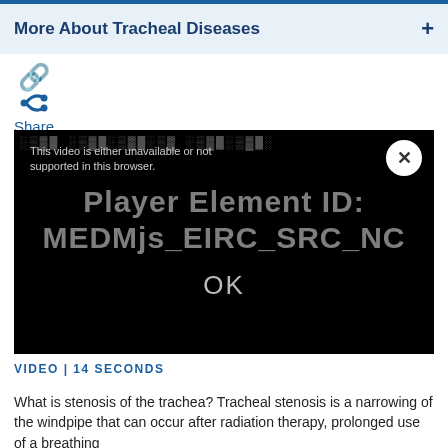More About Tracheal Diseases
[Figure (screenshot): Share icon (forward arrow) with 'Share' label below it in blue]
[Figure (screenshot): Video player showing error state: black background with overlaid text 'Player Element ID: MEDMjs_EIRC_SRC_NO' and 'OK' button. Small text reads: 'This video is either unavailable or not supported in this browser.' A white circle X close button is visible in top right.]
VIDEO | 14 SECONDS
What is stenosis of the trachea? Tracheal stenosis is a narrowing of the windpipe that can occur after radiation therapy, prolonged use of a breathing